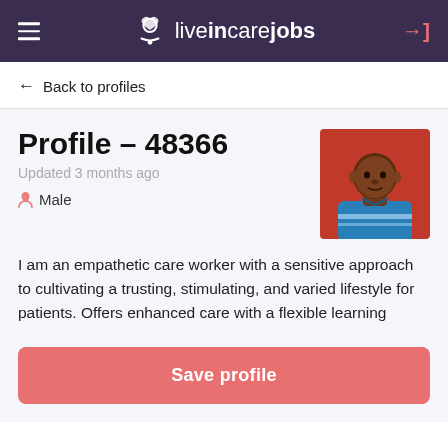liveincarejobs
← Back to profiles
Profile – 48366
Updated 3 months ago
Male
[Figure (photo): Profile photo of a man in a blue striped polo shirt against a red background]
I am an empathetic care worker with a sensitive approach to cultivating a trusting, stimulating, and varied lifestyle for patients. Offers enhanced care with a flexible learning
Save profile